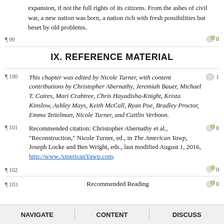expansion, if not the full rights of its citizens. From the ashes of civil war, a new nation was born, a nation rich with fresh possibilities but beset by old problems.
¶ 99   [comment icon: 0]
IX. REFERENCE MATERIAL
¶ 100  This chapter was edited by Nicole Turner, with content contributions by Christopher Abernathy, Jeremiah Bauer, Michael T. Caires, Mari Crabtree, Chris Hayadisha-Knight, Krista Kinslow, Ashley Mays, Keith McCall, Ryan Poe, Bradley Proctor, Emma Teitelman, Nicole Turner, and Caitlin Verboon.  [comment: 1]
¶ 101  Recommended citation: Christopher Abernathy et al., "Reconstruction," Nicole Turner, ed., in The American Yawp, Joseph Locke and Ben Wright, eds., last modified August 1, 2016, http://www.AmericanYawp.com.  [comment: 0]
¶ 102  [comment: 0]
¶ 103  Recommended Reading  [comment: 0]
NAVIGATE   CONTENT   DISCUSS